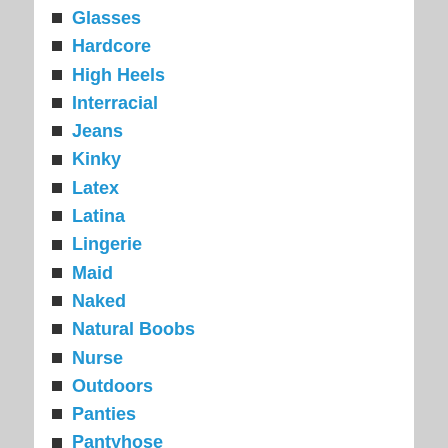Glasses
Hardcore
High Heels
Interracial
Jeans
Kinky
Latex
Latina
Lingerie
Maid
Naked
Natural Boobs
Nurse
Outdoors
Panties
Pantyhose
Petite
Pigtails
POV
Pussy
Red Head